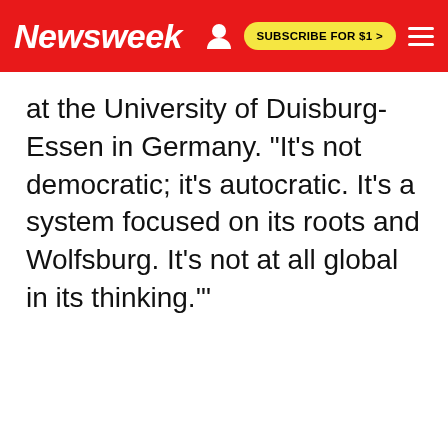Newsweek
at the University of Duisburg-Essen in Germany. "It's not democratic; it's autocratic. It's a system focused on its roots and Wolfsburg. It's not at all global in its thinking.'"